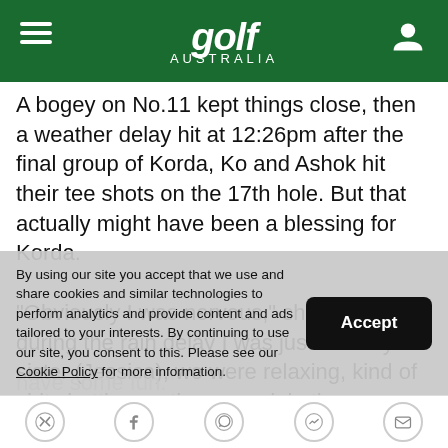Golf Australia
A bogey on No.11 kept things close, then a weather delay hit at 12:26pm after the final group of Korda, Ko and Ashok hit their tee shots on the 17th hole. But that actually might have been a blessing for Korda.
"Obviously I was nervous," she said, "but during the rain delay I was just with my sister (Jessica), we were relaxing, kind of chit chatting on the ground, in the clubhouse and I think that really helped a lot just to kind of not think about it and just to kind of take a step away in a sense during that rain delay and have some fun."
By using our site you accept that we use and share cookies and similar technologies to perform analytics and provide content and ads tailored to your interests. By continuing to use our site, you consent to this. Please see our Cookie Policy for more information.